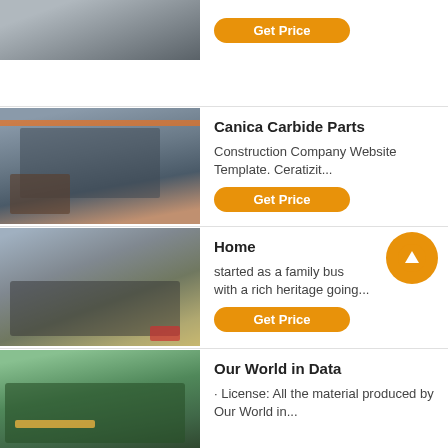[Figure (photo): Partial view of industrial machinery/equipment, top of page]
Get Price
[Figure (photo): Industrial factory interior with large crushing machinery and overhead crane with orange beam]
Canica Carbide Parts
Construction Company Website Template. Ceratizit...
Get Price
[Figure (photo): Mobile crushing/screening plant on a quarry site at dusk]
Home
started as a family business with a rich heritage going...
Get Price
[Figure (photo): Green industrial machine/conveyor in a warehouse]
Our World in Data
· License: All the material produced by Our World in...